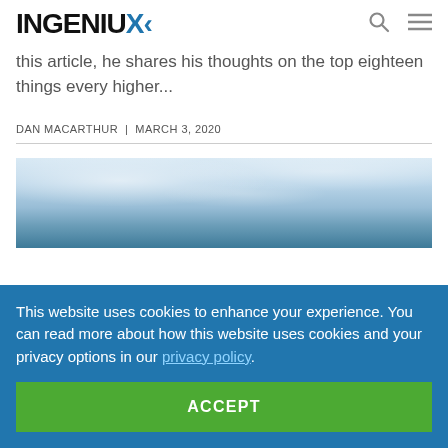INGENIUX
this article, he shares his thoughts on the top eighteen things every higher...
DAN MACARTHUR  |  MARCH 3, 2020
[Figure (photo): Outdoor sky photo with clouds, partially visible]
This website uses cookies to enhance your experience. You can read more about how this website uses cookies and your privacy options in our privacy policy.
ACCEPT